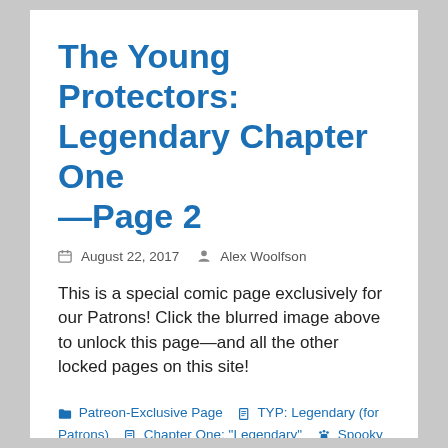The Young Protectors: Legendary Chapter One —Page 2
August 22, 2017   Alex Woolfson
This is a special comic page exclusively for our Patrons! Click the blurred image above to unlock this page—and all the other locked pages on this site!
Patreon-Exclusive Page  TYP: Legendary (for Patrons)  Chapter One: "Legendary"  Spooky Jones, Kyle